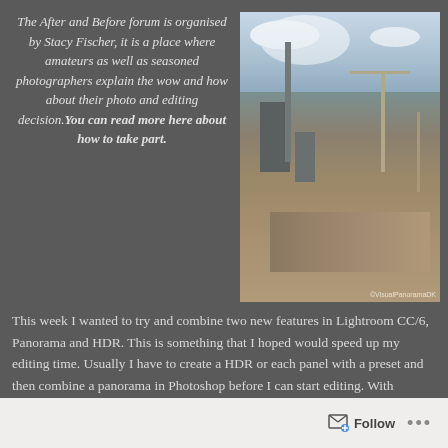The After and Before forum is organised by Stacy Fischer, it is a place where amateurs as well as seasoned photographers explain the wow and how about their photo and editing decision. You can read more here about how to take part.
[Figure (photo): Construction site panorama with cranes, buildings, and earthworks under a partly cloudy sky]
This week I wanted to try and combine two new features in Lightroom CC/6, Panorama and HDR. This is something that I hoped would speed up my editing time. Usually I have to create a HDR or each panel with a preset and then combine a panorama in Photoshop before I can start editing. With Lightroom I could create a panorama for
Follow ...